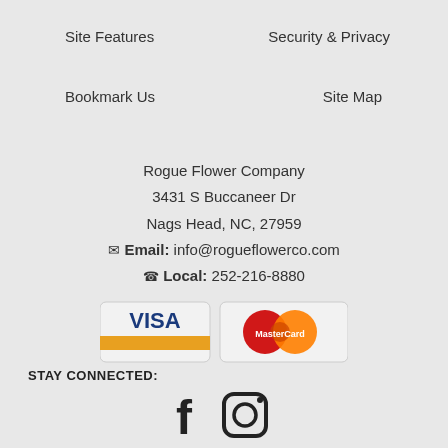Site Features
Security & Privacy
Bookmark Us
Site Map
Rogue Flower Company
3431 S Buccaneer Dr
Nags Head, NC, 27959
Email: info@rogueflowerco.com
Local: 252-216-8880
[Figure (logo): Visa and MasterCard payment icons side by side]
STAY CONNECTED:
[Figure (illustration): Facebook and Instagram social media icons]